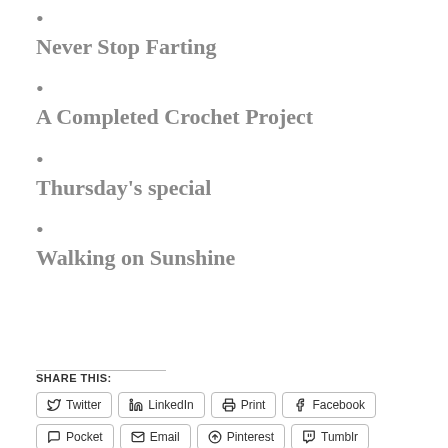•
Never Stop Farting
•
A Completed Crochet Project
•
Thursday's special
•
Walking on Sunshine
SHARE THIS:
Twitter  LinkedIn  Print  Facebook  Pocket  Email  Pinterest  Tumblr